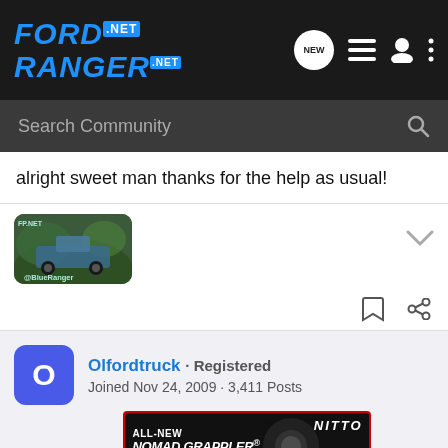Ford Ranger .net — navigation bar with search
alright sweet man thanks for the help as usual!
[Figure (photo): User avatar thumbnail showing a blue Ford Ranger truck on a green/forested background with FP.NET and @BlueRanger watermark text]
Olfordtruck · Registered
Joined Nov 24, 2009 · 3,411 Posts
#6 · Jan
[Figure (other): Nitto tire advertisement — ALL-NEW NOMAD GRAPPLER CROSSOVER-TERRAIN TIRE with dark background and tire image]